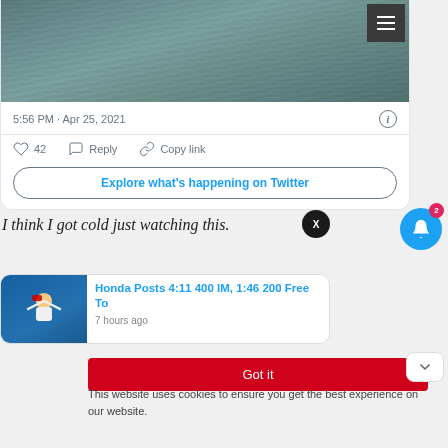[Figure (screenshot): Twitter/social media screenshot showing water image at top, tweet timestamp 5:56 PM · Apr 25, 2021, heart/reply/copy link actions, and Explore what's happening on Twitter button]
I think I got cold just watching this.
[Figure (screenshot): News article card: Honda Posts 4:11 400 IM, 1:46 200 Free To, 7 hours ago, with swimmer image]
Got it
This website uses cookies to ensure you get the best experience on our website.